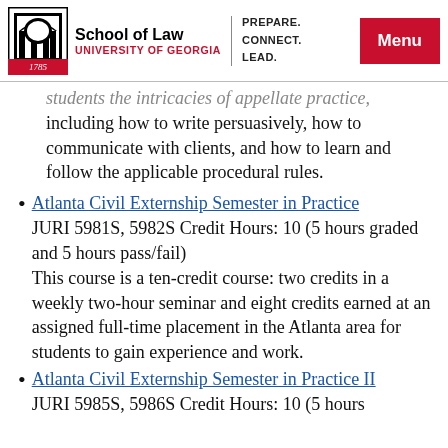School of Law | UNIVERSITY OF GEORGIA | PREPARE. CONNECT. LEAD. | Menu
students the intricacies of appellate practice, including how to write persuasively, how to communicate with clients, and how to learn and follow the applicable procedural rules.
Atlanta Civil Externship Semester in Practice
JURI 5981S, 5982S Credit Hours: 10 (5 hours graded and 5 hours pass/fail)
This course is a ten-credit course: two credits in a weekly two-hour seminar and eight credits earned at an assigned full-time placement in the Atlanta area for students to gain experience and work.
Atlanta Civil Externship Semester in Practice II
JURI 5985S, 5986S Credit Hours: 10 (5 hours